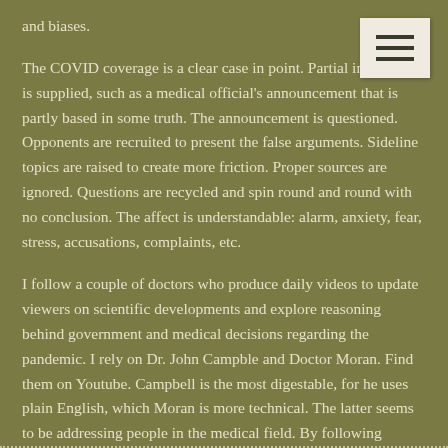and biases.
The COVID coverage is a clear case in point. Partial information is supplied, such as a medical official's announcement that is partly based in some truth. The announcement is questioned. Opponents are recruited to present the false arguments. Sideline topics are raised to create more friction. Proper sources are ignored. Questions are recycled and spin round and round with no conclusion. The affect is understandable: alarm, anxiety, fear, stress, accusations, complaints, etc.
I follow a couple of doctors who produce daily videos to update viewers on scientific developments and explore reasoning behind government and medical decisions regarding the pandemic. I rely on Dr. John Campble and Doctor Moran. Find them on Youtube. Campbell is the most digestable, for he uses plain English, which Moran is more technical. The latter seems to be addressing people in the medical field. By following Campbell, in particular, I can see the gaps in the regional and national news reporting. I can see that they are lagging behind the news by ignoring or failing to search for reliable information.